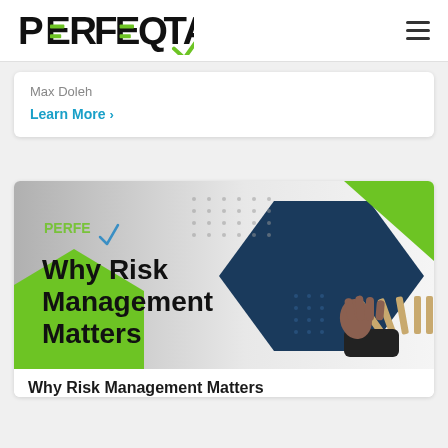PERFEQTA
Max Doleh
Learn More >
[Figure (illustration): Perfeqta branded banner image with text 'Why Risk Management Matters' on a gray, green, and dark blue geometric background. A hand stops falling dominos on the right side. The Perfeqta logo is in the upper left corner of the banner.]
Why Risk Management Matters